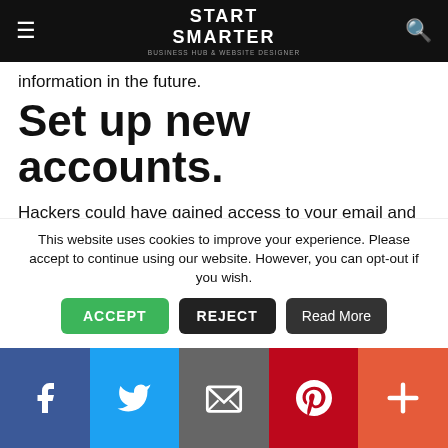START SMARTER — Business Hub & Website Designer
information in the future.
Set up new accounts.
Hackers could have gained access to your email and they can access your social media accounts for your business. If this has happened, you need to set up new accounts and new email addresses in replacement. Check all of your inboxes and sent items as well as your trash for new account notifications using these new emails. If no
This website uses cookies to improve your experience. Please accept to continue using our website. However, you can opt-out if you wish.
ACCEPT   REJECT   Read More